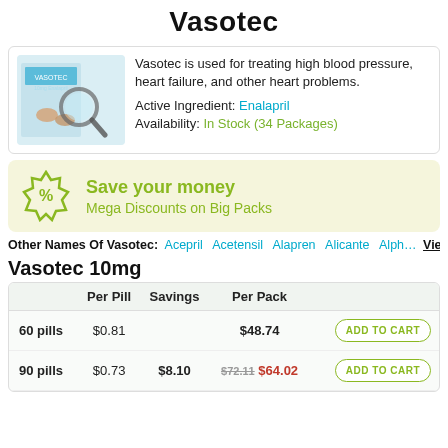Vasotec
Vasotec is used for treating high blood pressure, heart failure, and other heart problems.
Active Ingredient: Enalapril
Availability: In Stock (34 Packages)
Save your money
Mega Discounts on Big Packs
Other Names Of Vasotec: Acepril Acetensil Alapren Alicante Alph... View all
Vasotec 10mg
|  | Per Pill | Savings | Per Pack |  |
| --- | --- | --- | --- | --- |
| 60 pills | $0.81 |  | $48.74 | ADD TO CART |
| 90 pills | $0.73 | $8.10 | $72.11 $64.02 | ADD TO CART |